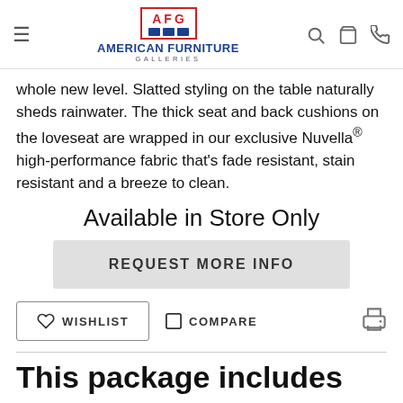American Furniture Galleries
whole new level. Slatted styling on the table naturally sheds rainwater. The thick seat and back cushions on the loveseat are wrapped in our exclusive Nuvella® high-performance fabric that's fade resistant, stain resistant and a breeze to clean.
Available in Store Only
REQUEST MORE INFO
WISHLIST   COMPARE
This package includes